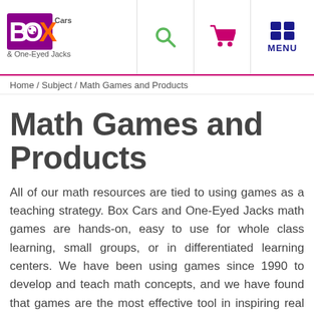Box Cars & One-Eyed Jacks [logo] | Search | Cart | MENU
Home / Subject / Math Games and Products
Math Games and Products
All of our math resources are tied to using games as a teaching strategy. Box Cars and One-Eyed Jacks math games are hands-on, easy to use for whole class learning, small groups, or in differentiated learning centers. We have been using games since 1990 to develop and teach math concepts, and we have found that games are the most effective tool in inspiring real engagement, resulting in long-lasting learning.